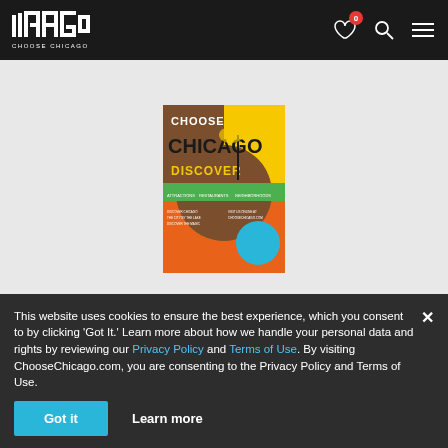CHICAGO CHOOSE CHICAGO
[Figure (screenshot): Choose Chicago travel guide poster with colorful graphic design showing CHOOSE CHICAGO text and DISCOVER tagline]
This website uses cookies to ensure the best experience, which you consent to by clicking 'Got It.' Learn more about how we handle your personal data and rights by reviewing our Privacy Policy and Terms of Use. By visiting ChooseChicago.com, you are consenting to the Privacy Policy and Terms of Use.
Got it   Learn more